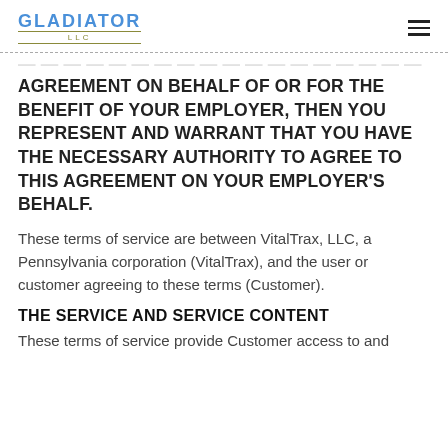GLADIATOR LLC
AGREEMENT ON BEHALF OF OR FOR THE BENEFIT OF YOUR EMPLOYER, THEN YOU REPRESENT AND WARRANT THAT YOU HAVE THE NECESSARY AUTHORITY TO AGREE TO THIS AGREEMENT ON YOUR EMPLOYER'S BEHALF.
These terms of service are between VitalTrax, LLC, a Pennsylvania corporation (VitalTrax), and the user or customer agreeing to these terms (Customer).
THE SERVICE AND SERVICE CONTENT
These terms of service provide Customer access to and